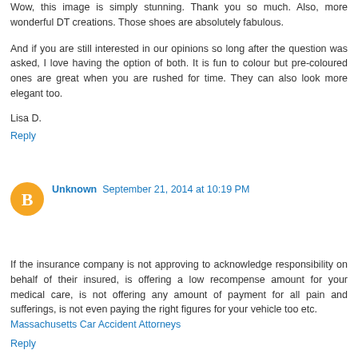Wow, this image is simply stunning. Thank you so much. Also, more wonderful DT creations. Those shoes are absolutely fabulous.
And if you are still interested in our opinions so long after the question was asked, I love having the option of both. It is fun to colour but pre-coloured ones are great when you are rushed for time. They can also look more elegant too.
Lisa D.
Reply
Unknown September 21, 2014 at 10:19 PM
If the insurance company is not approving to acknowledge responsibility on behalf of their insured, is offering a low recompense amount for your medical care, is not offering any amount of payment for all pain and sufferings, is not even paying the right figures for your vehicle too etc.
Massachusetts Car Accident Attorneys
Reply